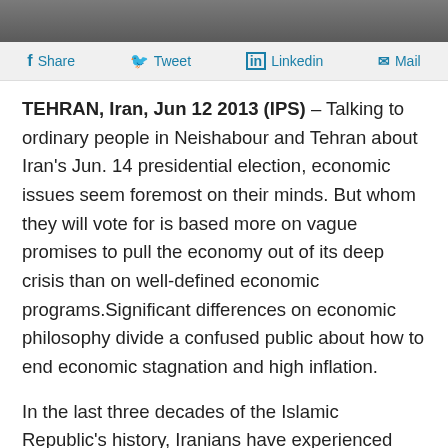[Figure (photo): Partial photo strip at top of page showing street scene in Iran]
Share  Tweet  Linkedin  Mail
TEHRAN, Iran, Jun 12 2013 (IPS) – Talking to ordinary people in Neishabour and Tehran about Iran's Jun. 14 presidential election, economic issues seem foremost on their minds. But whom they will vote for is based more on vague promises to pull the economy out of its deep crisis than on well-defined economic programs.Significant differences on economic philosophy divide a confused public about how to end economic stagnation and high inflation.
In the last three decades of the Islamic Republic's history, Iranians have experienced both market-based economic growth and populist redistribution.
This election cycle would have been a good time to